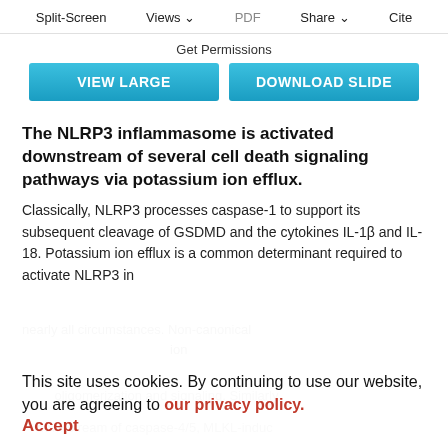Split-Screen | Views | PDF | Share | Cite
Get Permissions
[Figure (other): Two blue buttons: VIEW LARGE and DOWNLOAD SLIDE]
The NLRP3 inflammasome is activated downstream of several cell death signaling pathways via potassium ion efflux.
Classically, NLRP3 processes caspase-1 to support its subsequent cleavage of GSDMD and the cytokines IL-1β and IL-18. Potassium ion efflux is a common determinant required to activate NLRP3 in nearly all circumstances. Non-canonical
This site uses cookies. By continuing to use our website, you are agreeing to our privacy policy. Accept